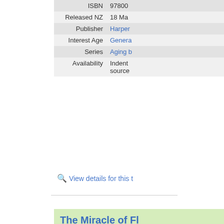| Field | Value |
| --- | --- |
| ISBN | 97800... |
| Released NZ | 18 Ma... |
| Publisher | Harper... |
| Interest Age | Genera... |
| Series | Aging b... |
| Availability | Indent... source... |
View details for this t...
The Miracle of Fl... Program to Incre... Mobility, and Bec...
By Esmonde-White, Mi...
Gain strength and mobili... revolutionary technique o... bestselling author, and s... White. The fields of spor...
Read more
| Field | Value |
| --- | --- |
| ISBN | 97816... |
| Publisher | S&s/S... |